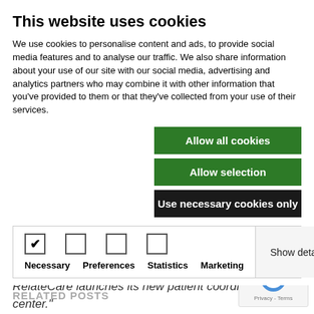This website uses cookies
We use cookies to personalise content and ads, to provide social media features and to analyse our traffic. We also share information about your use of our site with our social media, advertising and analytics partners who may combine it with other information that you've provided to them or that they've collected from your use of their services.
Allow all cookies
Allow selection
Use necessary cookies only
Necessary	Preferences	Statistics	Marketing	Show details
director, executive administration at Cleveland Clinic.
“We hope our relationship will continue to develop as RelateCare launches its new patient coordination center.”
RELATED POSTS